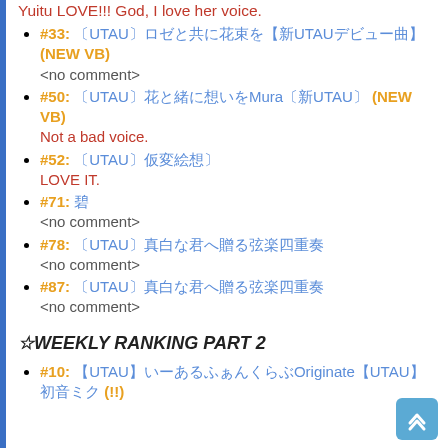Yuitu LOVE!!! God, I love her voice.
#33: 〔UTAU〕ロゼと共に花束を【新UTAUデビュー曲】(NEW VB)
<no comment>
#50: 〔UTAU〕花と緒に想いをMura〔新UTAU〕 (NEW VB)
Not a bad voice.
#52: 〔UTAU〕仮変絵想
LOVE IT.
#71: 碧
<no comment>
#78: 〔UTAU〕真白な君へ贈る弦楽四重奏
<no comment>
#87: 〔UTAU〕真白な君へ贈る弦楽四重奏
<no comment>
☆WEEKLY RANKING PART 2
#10: 【UTAU】いーあるふぁんくらぶOriginate【UTAU】初音ミク (!!)